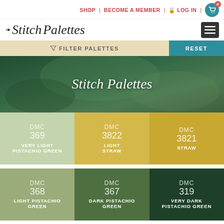SHOP | BECOME A MEMBER | LOG IN | 0
Stitch Palettes
FILTER PALETTES | RESET
[Figure (photo): Hero banner with green nature texture and Stitch Palettes logo overlay]
DMC 369 VERY LIGHT PISTACHIO GREEN
DMC 3822 LIGHT STRAW
DMC 3821 STRAW
DMC 368 LIGHT PISTACHIO GREEN
DMC 367 DARK PISTACHIO GREEN
DMC 319 VERY DARK PISTACHIO GREEN